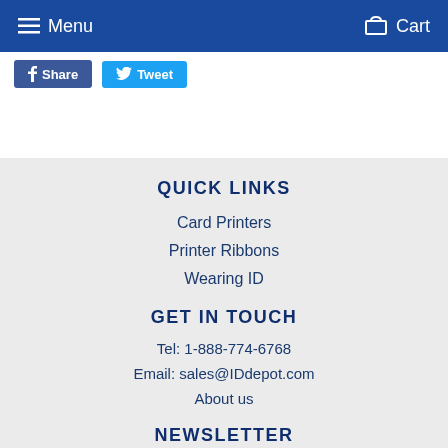Menu   Cart
Share   Tweet
QUICK LINKS
Card Printers
Printer Ribbons
Wearing ID
GET IN TOUCH
Tel: 1-888-774-6768
Email: sales@IDdepot.com
About us
NEWSLETTER